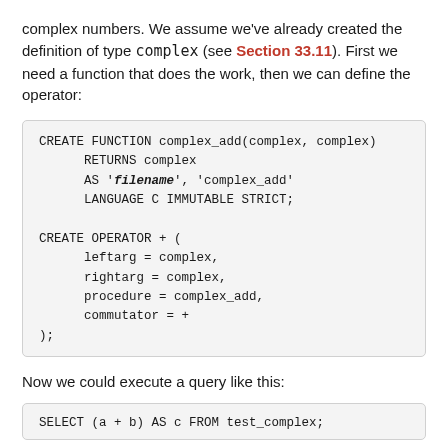complex numbers. We assume we've already created the definition of type complex (see Section 33.11). First we need a function that does the work, then we can define the operator:
[Figure (screenshot): Code block showing CREATE FUNCTION complex_add and CREATE OPERATOR SQL statements]
Now we could execute a query like this:
[Figure (screenshot): Partial code block showing SELECT (a + b) AS c FROM test_complex;]